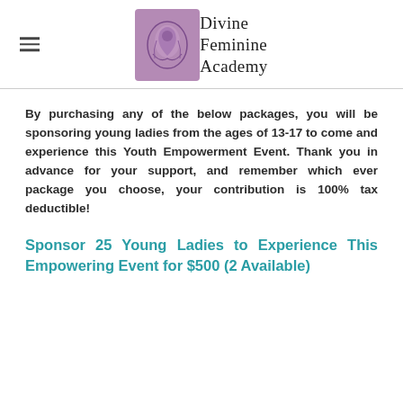[Figure (logo): Divine Feminine Academy logo with purple illustrated square icon and serif text reading 'Divine Feminine Academy']
By purchasing any of the below packages, you will be sponsoring young ladies from the ages of 13-17 to come and experience this Youth Empowerment Event. Thank you in advance for your support, and remember which ever package you choose, your contribution is 100% tax deductible!
Sponsor 25 Young Ladies to Experience This Empowering Event for $500 (2 Available)